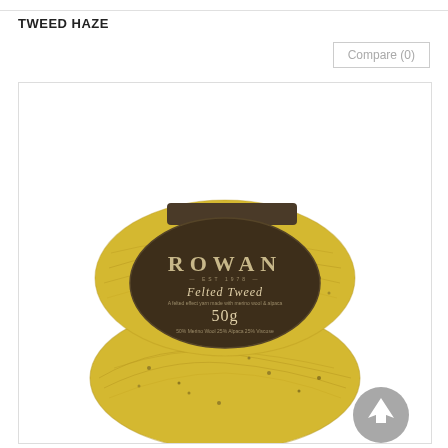TWEED HAZE
Compare (0)
[Figure (photo): Two balls of Rowan Felted Tweed yellow/golden yarn stacked on top of each other, with a dark brown oval label reading ROWAN Felted Tweed 50g]